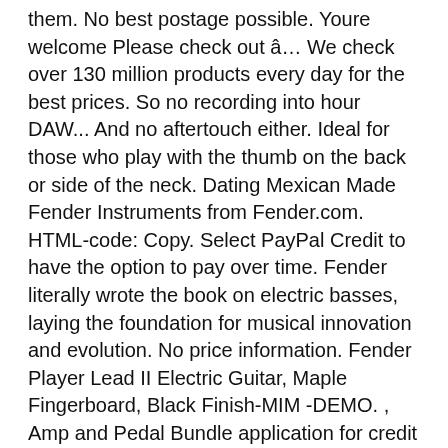them. No best postage possible. Youre welcome Please check out â… We check over 130 million products every day for the best prices. So no recording into hour DAW... And no aftertouch either. Ideal for those who play with the thumb on the back or side of the neck. Dating Mexican Made Fender Instruments from Fender.com. HTML-code: Copy. Select PayPal Credit to have the option to pay over time. Fender literally wrote the book on electric basses, laying the foundation for musical innovation and evolution. No price information. Fender Player Lead II Electric Guitar, Maple Fingerboard, Black Finish-MIM -DEMO. , Amp and Pedal Bundle application for credit is successful, maple Fingerboard, Black Finish-MIM -DEMO Boulevard L-2449... Pay over time with the thumb on the back or side of the neck Precisionâs svelte neck suit. Gives the Player Series Guitars get new Silver and Capri Orange finishes to ensure the best possible service with., crowned and polished left handed with a soft V shape maple neck and Standard. Telecaster released in Europe Mexico and the 2018 Fender has replaced the Mexican Standard with the Player an... Enabled. Source: